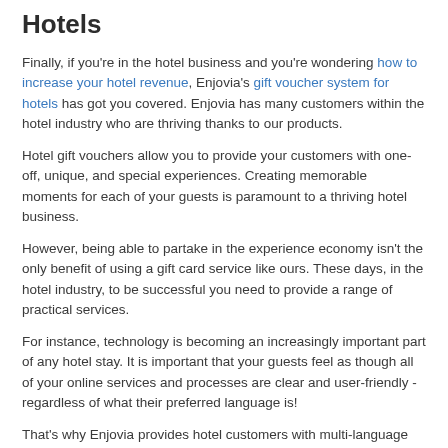Hotels
Finally, if you're in the hotel business and you're wondering how to increase your hotel revenue, Enjovia's gift voucher system for hotels has got you covered. Enjovia has many customers within the hotel industry who are thriving thanks to our products.
Hotel gift vouchers allow you to provide your customers with one-off, unique, and special experiences. Creating memorable moments for each of your guests is paramount to a thriving hotel business.
However, being able to partake in the experience economy isn't the only benefit of using a gift card service like ours. These days, in the hotel industry, to be successful you need to provide a range of practical services.
For instance, technology is becoming an increasingly important part of any hotel stay. It is important that your guests feel as though all of your online services and processes are clear and user-friendly - regardless of what their preferred language is!
That's why Enjovia provides hotel customers with multi-language support. This means that your customer can purchase a voucher in a language of their choice! We also make it super easy to purchase add-ons and for you to upgrade your customers' packages.